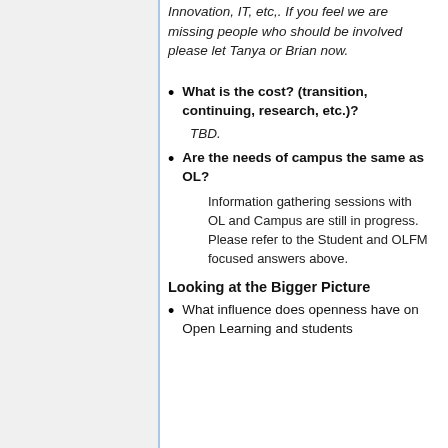Innovation, IT, etc,. If you feel we are missing people who should be involved please let Tanya or Brian now.
What is the cost? (transition, continuing, research, etc.)?
TBD.
Are the needs of campus the same as OL?
Information gathering sessions with OL and Campus are still in progress. Please refer to the Student and OLFM focused answers above.
Looking at the Bigger Picture
What influence does openness have on Open Learning and students